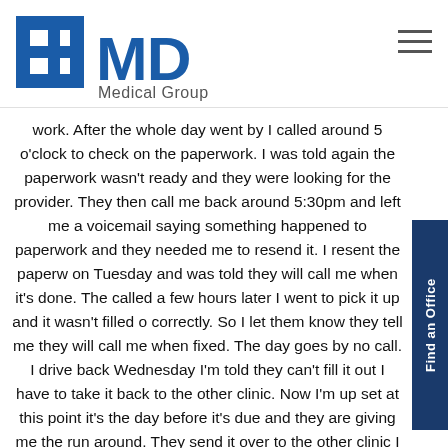MD Medical Group
work. After the whole day went by I called around 5 o'clock to check on the paperwork. I was told again the paperwork wasn't ready and they were looking for the provider. They then call me back around 5:30pm and left me a voicemail saying something happened to paperwork and they needed me to resend it. I resent the paperwork on Tuesday and was told they will call me when it's done. The called a few hours later I went to pick it up and it wasn't filled out correctly. So I let them know they tell me they will call me when fixed. The day goes by no call. I drive back Wednesday I'm told they can't fill it out I have to take it back to the other clinic. Now I'm up set at this point it's the day before it's due and they are giving me the run around. They send it over to the other clinic I drive back that way and they tell me they don't have any of my child's medical information and can't sign the form, but there is a lady who comes in at 1pm who was there who can sign them. I told them I'm on a short time schedule and was advised they are open until 6pm. I wait 2pm comes around no call so I call them I'm told the lady Jennifer I believe her name was is at lunch an they will give me a call back as soon as she gets back. 4:30pm rolls around and I am still waiting. I call the clinic I'm told that the provider is seeing patients hasn't had